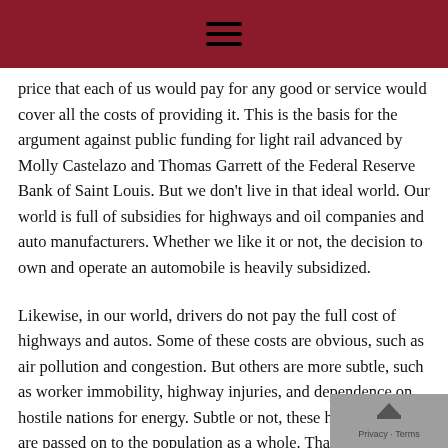≡
price that each of us would pay for any good or service would cover all the costs of providing it. This is the basis for the argument against public funding for light rail advanced by Molly Castelazo and Thomas Garrett of the Federal Reserve Bank of Saint Louis. But we don't live in that ideal world. Our world is full of subsidies for highways and oil companies and auto manufacturers. Whether we like it or not, the decision to own and operate an automobile is heavily subsidized.
Likewise, in our world, drivers do not pay the full cost of highways and autos. Some of these costs are obvious, such as air pollution and congestion. But others are more subtle, such as worker immobility, highway injuries, and dependence on hostile nations for energy. Subtle or not, these highway costs are passed on to the population as a whole. That is, the automobile and highway system